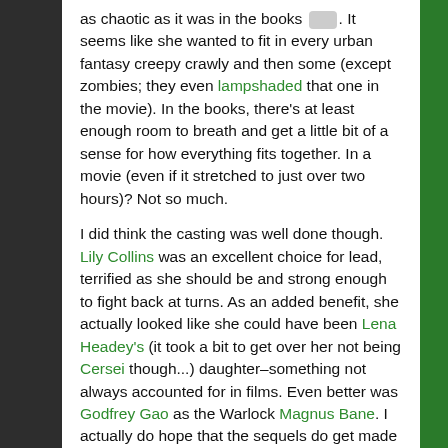as chaotic as it was in the books [emoji]. It seems like she wanted to fit in every urban fantasy creepy crawly and then some (except zombies; they even lampshaded that one in the movie). In the books, there's at least enough room to breath and get a little bit of a sense for how everything fits together. In a movie (even if it stretched to just over two hours)? Not so much.
I did think the casting was well done though. Lily Collins was an excellent choice for lead, terrified as she should be and strong enough to fight back at turns. As an added benefit, she actually looked like she could have been Lena Headey's (it took a bit to get over her not being Cersei though...) daughter–something not always accounted for in films. Even better was Godfrey Gao as the Warlock Magnus Bane. I actually do hope that the sequels do get made just to see where they go with him...